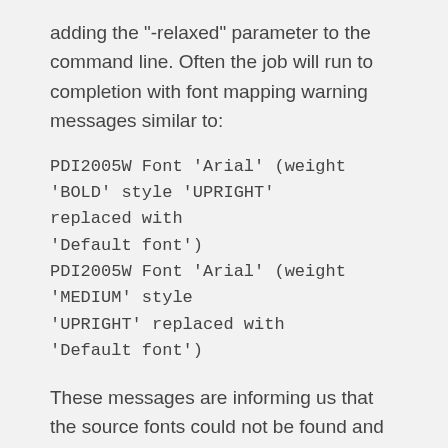adding the "-relaxed" parameter to the command line. Often the job will run to completion with font mapping warning messages similar to:
PDI2005W Font 'Arial' (weight 'BOLD' style 'UPRIGHT' replaced with
'Default font')
PDI2005W Font 'Arial' (weight 'MEDIUM' style 'UPRIGHT' replaced with
'Default font')
These messages are informing us that the source fonts could not be found and that the conversion engine will make its best attempt to emulate the fonts. DocBridge generally does a good job of